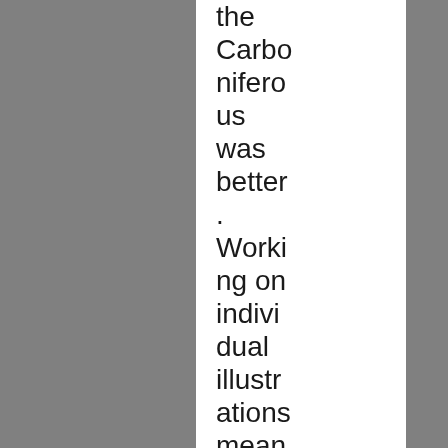the Carboniferous was better. Working on individual illustrations meant I was const